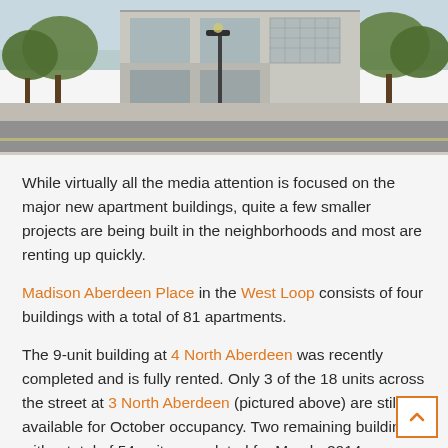[Figure (photo): Street-level photograph of 3 North Aberdeen building in the West Loop neighborhood of Chicago. A modern multi-story building with glass facade is visible, with parked cars and trees lining the street.]
While virtually all the media attention is focused on the major new apartment buildings, quite a few smaller projects are being built in the neighborhoods and most are renting up quickly.
Madison Aberdeen Place in the West Loop consists of four buildings with a total of 81 apartments.
The 9-unit building at 4 North Aberdeen was recently completed and is fully rented. Only 3 of the 18 units across the street at 3 North Aberdeen (pictured above) are still available for October occupancy. Two remaining buildings, with a total of 54 units, are slated for March, 2014 occupancy. Stated rents at the completed buildings are comparable to, and in some cases greater than what you'd pay in one of the full-amenity buildings further east.